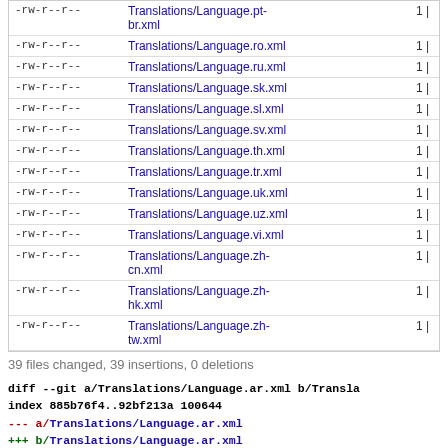| permissions | filename | count |
| --- | --- | --- |
| -rw-r--r-- | Translations/Language.pt-br.xml | 1 | |
| -rw-r--r-- | Translations/Language.ro.xml | 1 | |
| -rw-r--r-- | Translations/Language.ru.xml | 1 | |
| -rw-r--r-- | Translations/Language.sk.xml | 1 | |
| -rw-r--r-- | Translations/Language.sl.xml | 1 | |
| -rw-r--r-- | Translations/Language.sv.xml | 1 | |
| -rw-r--r-- | Translations/Language.th.xml | 1 | |
| -rw-r--r-- | Translations/Language.tr.xml | 1 | |
| -rw-r--r-- | Translations/Language.uk.xml | 1 | |
| -rw-r--r-- | Translations/Language.uz.xml | 1 | |
| -rw-r--r-- | Translations/Language.vi.xml | 1 | |
| -rw-r--r-- | Translations/Language.zh-cn.xml | 1 | |
| -rw-r--r-- | Translations/Language.zh-hk.xml | 1 | |
| -rw-r--r-- | Translations/Language.zh-tw.xml | 1 | |
39 files changed, 39 insertions, 0 deletions
diff --git a/Translations/Language.ar.xml b/Transla
index 885b76f4..92bf213a 100644
--- a/Translations/Language.ar.xml
+++ b/Translations/Language.ar.xml
@@ -1439,6 +1439,7 @@
    <entry lang="en" key="IDC_DISABLE_MOUNT_MANAGE